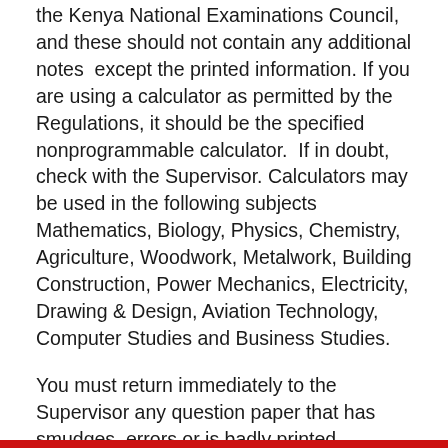the Kenya National Examinations Council, and these should not contain any additional notes  except the printed information. If you are using a calculator as permitted by the Regulations, it should be the specified nonprogrammable calculator.  If in doubt, check with the Supervisor. Calculators may be used in the following subjects Mathematics, Biology, Physics, Chemistry, Agriculture, Woodwork, Metalwork, Building Construction, Power Mechanics, Electricity, Drawing & Design, Aviation Technology, Computer Studies and Business Studies.
You must return immediately to the Supervisor any question paper that has smudges, errors or is badly printed.
You must not take any used or unused paper out of the examination room.  Any rough work must be